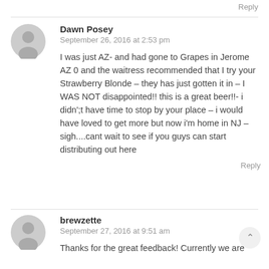Reply
Dawn Posey
September 26, 2016 at 2:53 pm
I was just AZ- and had gone to Grapes in Jerome AZ 0 and the waitress recommended that I try your Strawberry Blonde – they has just gotten it in – I WAS NOT disappointed!! this is a great beer!!- i didn';t have time to stop by your place – i would have loved to get more but now i'm home in NJ – sigh....cant wait to see if you guys can start distributing out here
Reply
brewzette
September 27, 2016 at 9:51 am
Thanks for the great feedback! Currently we are